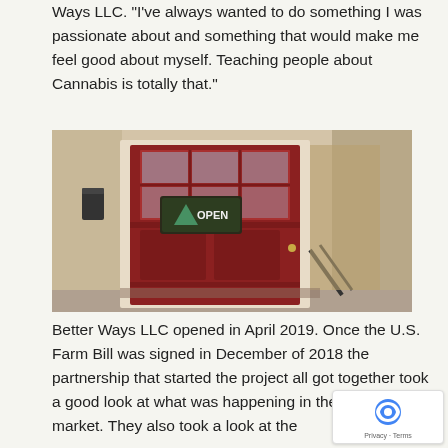Ways LLC. "I've always wanted to do something I was passionate about and something that would make me feel good about myself. Teaching people about Cannabis is totally that."
[Figure (photo): A red door with glass panels and an 'Open' chalkboard sign hanging on it, with a railing visible to the right]
Better Ways LLC opened in April 2019. Once the U.S. Farm Bill was signed in December of 2018 the partnership that started the project all got together took a good look at what was happening in the Hemp/CBD market. They also took a look at the